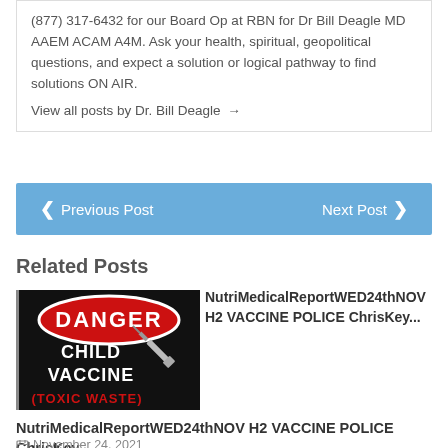(877) 317-6432 for our Board Op at RBN for Dr Bill Deagle MD AAEM ACAM A4M. Ask your health, spiritual, geopolitical questions, and expect a solution or logical pathway to find solutions ON AIR. View all posts by Dr. Bill Deagle →
❮ Previous Post   Next Post ❯
Related Posts
[Figure (illustration): Danger Child Vaccine (Toxic Waste) warning sign with red oval DANGER label, text reading CHILD VACCINE (TOXIC WASTE) and a syringe graphic on black background]
NutriMedicalReportWED24thNOV H2 VACCINE POLICE ChrisKey...
November 24, 2021